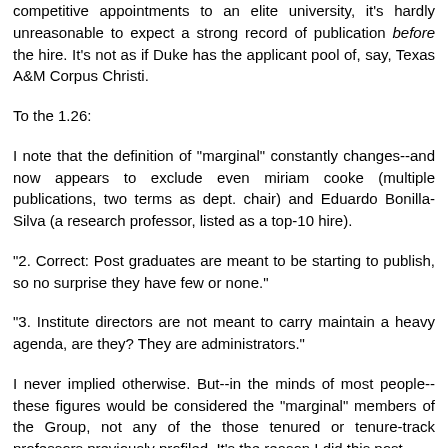competitive appointments to an elite university, it's hardly unreasonable to expect a strong record of publication before the hire. It's not as if Duke has the applicant pool of, say, Texas A&M Corpus Christi.
To the 1.26:
I note that the definition of "marginal" constantly changes--and now appears to exclude even miriam cooke (multiple publications, two terms as dept. chair) and Eduardo Bonilla-Silva (a research professor, listed as a top-10 hire).
"2. Correct: Post graduates are meant to be starting to publish, so no surprise they have few or none."
"3. Institute directors are not meant to carry maintain a heavy agenda, are they? They are administrators."
I never implied otherwise. But--in the minds of most people--these figures would be considered the "marginal" members of the Group, not any of the those tenured or tenure-track professors previously profiled. It's the reason I did this post.